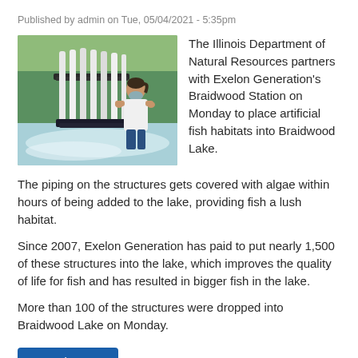Published by admin on Tue, 05/04/2021 - 5:35pm
[Figure (photo): Woman in mask and white shirt lifting a rack of PVC pipe structures near a lake with green vegetation in background]
The Illinois Department of Natural Resources partners with Exelon Generation's Braidwood Station on Monday to place artificial fish habitats into Braidwood Lake.
The piping on the structures gets covered with algae within hours of being added to the lake, providing fish a lush habitat.
Since 2007, Exelon Generation has paid to put nearly 1,500 of these structures into the lake, which improves the quality of life for fish and has resulted in bigger fish in the lake.
More than 100 of the structures were dropped into Braidwood Lake on Monday.
Read more